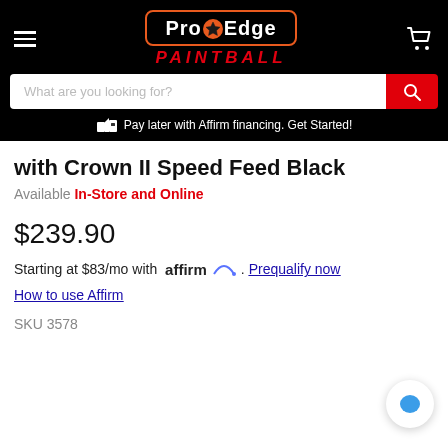ProEdge PAINTBALL — navigation header with search bar and Affirm banner
with Crown II Speed Feed Black
Available In-Store and Online
$239.90
Starting at $83/mo with affirm. Prequalify now
How to use Affirm
SKU 3578